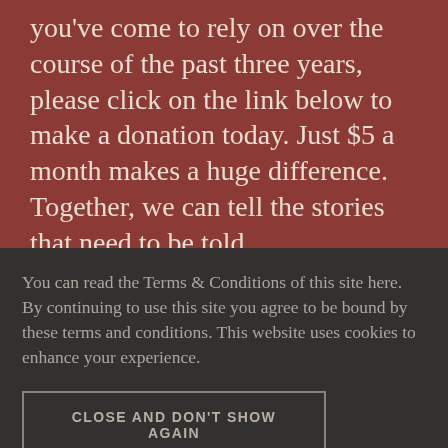you've come to rely on over the course of the past three years, please click on the link below to make a donation today. Just $5 a month makes a huge difference. Together, we can tell the stories that need to be told.
You can read the Terms & Conditions of this site here. By continuing to use this site you agree to be bound by these terms and conditions. This website uses cookies to enhance your experience.
CLOSE AND DON'T SHOW AGAIN